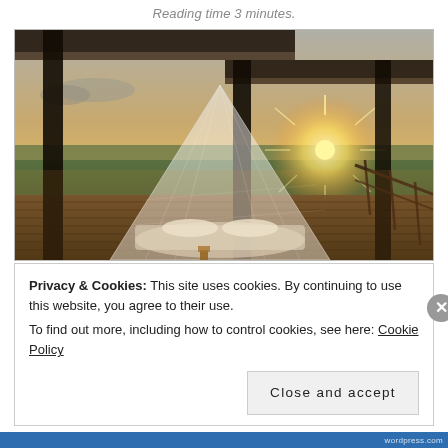Reading time 3 minutes.
[Figure (photo): Outdoor safari deck at sunset with a canopy bed draped in white mosquito netting, wooden deck structure with pergola, sun flare visible through wooden beams, savannah landscape in background.]
Privacy & Cookies: This site uses cookies. By continuing to use this website, you agree to their use.
To find out more, including how to control cookies, see here: Cookie Policy
Close and accept